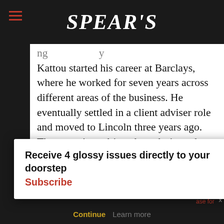SPEAR'S
Kattou started his career at Barclays, where he worked for seven years across different areas of the business. He eventually settled in a client adviser role and moved to Lincoln three years ago. The move ‘was driven by a desire to be part of an independent firm aligned to clients in a unique way’, he says.
managers oln, using
Receive 4 glossy issues directly to your doorstep Subscribe
ase for continue using our all cookies on this
Continue Learn more